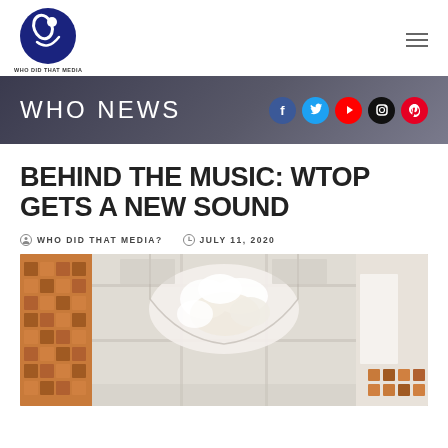[Figure (logo): Who Did That Media logo — dark blue circular icon with stylized figure, text below reading WHO DID THAT MEDIA]
WHO NEWS
BEHIND THE MUSIC: WTOP GETS A NEW SOUND
WHO DID THAT MEDIA?  JULY 11, 2020
[Figure (photo): Interior photo of a modern radio studio with decorative acoustic panels on walls (wood block texture) and an ornate white sculptural ceiling installation]